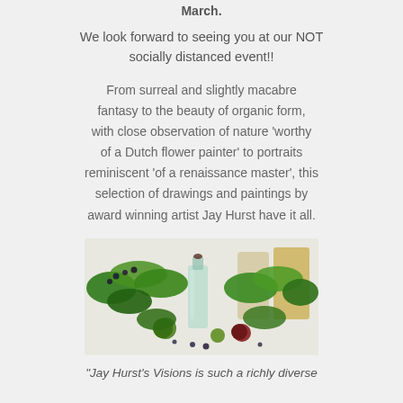March.
We look forward to seeing you at our NOT socially distanced event!!
From surreal and slightly macabre fantasy to the beauty of organic form, with close observation of nature 'worthy of a Dutch flower painter' to portraits reminiscent 'of a renaissance master', this selection of drawings and paintings by award winning artist Jay Hurst have it all.
[Figure (photo): A detailed realistic painting of green leafy branches with berries and small apples arranged around a clear glass bottle, with larger vessels in the background on a white surface.]
"Jay Hurst's Visions is such a richly diverse